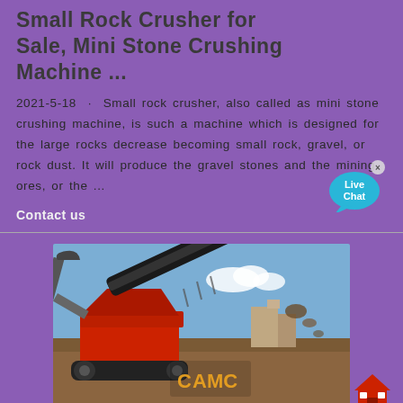Small Rock Crusher for Sale, Mini Stone Crushing Machine ...
2021-5-18 · Small rock crusher, also called as mini stone crushing machine, is such a machine which is designed for the large rocks decrease becoming small rock, gravel, or rock dust. It will produce the gravel stones and the mining ores, or the ...
Contact us
[Figure (photo): A red mobile rock crushing machine with conveyor belt operating outdoors on a construction/demolition site with blue sky and buildings in background. AMC logo visible on the machine.]